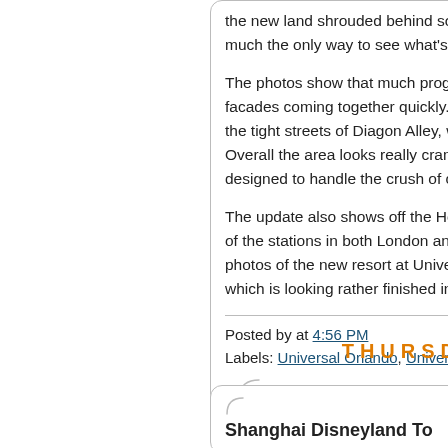the new land shrouded behind so much the only way to see what's c
The photos show that much prog facades coming together quickly. the tight streets of Diagon Alley, w Overall the area looks really cram designed to handle the crush of c
The update also shows off the Ho of the stations in both London an photos of the new resort at Unive which is looking rather finished in
Posted by at 4:56 PM
Labels: Universal Orlando, Univer
THURSDAY,
Shanghai Disneyland To